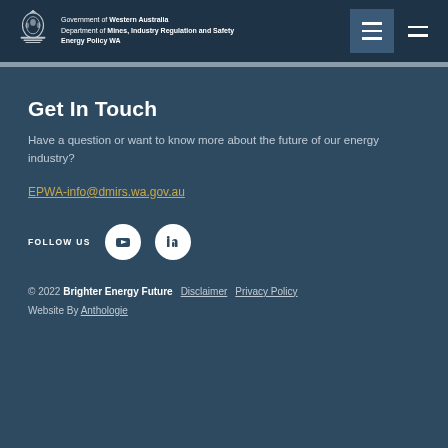Government of Western Australia Department of Mines, Industry Regulation and Safety Energy Policy WA
Get In Touch
Have a question or want to know more about the future of our energy industry?
EPWA-info@dmirs.wa.gov.au
FOLLOW US
© 2022 Brighter Energy Future Disclaimer Privacy Policy Website By Anthologie